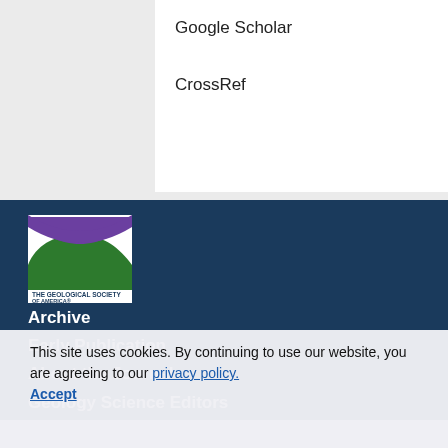Google Scholar
CrossRef
[Figure (logo): The Geological Society of America logo — white box with green hill and purple arc shape, text reading THE GEOLOGICAL SOCIETY OF AMERICA with registered trademark symbol]
Archive
Early Publication
About the Journal
Geology Science Editors
This site uses cookies. By continuing to use our website, you are agreeing to our privacy policy. Accept